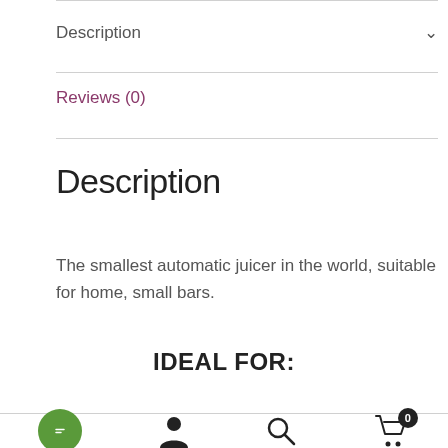Description
Reviews (0)
Description
The smallest automatic juicer in the world, suitable for home, small bars.
IDEAL FOR:
Navigation bar with chat, user, search, and cart icons